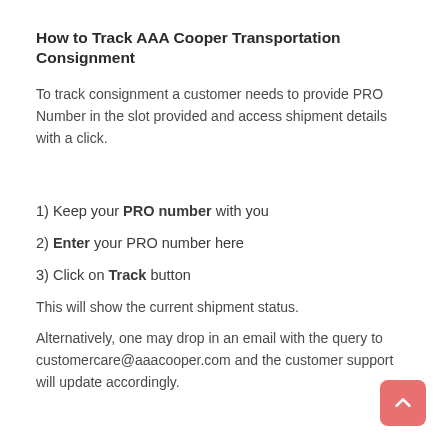How to Track AAA Cooper Transportation Consignment
To track consignment a customer needs to provide PRO Number in the slot provided and access shipment details with a click.
1) Keep your PRO number with you
2) Enter your PRO number here
3) Click on Track button
This will show the current shipment status.
Alternatively, one may drop in an email with the query to customercare@aaacooper.com and the customer support will update accordingly.